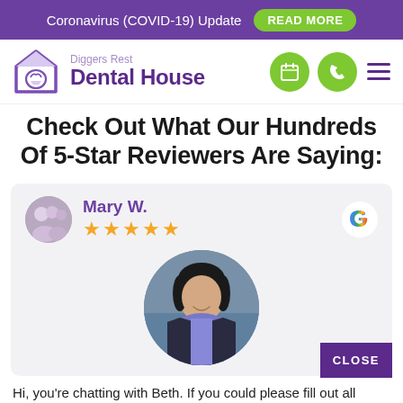Coronavirus (COVID-19) Update  READ MORE
[Figure (logo): Diggers Rest Dental House logo with house/tooth icon in purple]
Check Out What Our Hundreds Of 5-Star Reviewers Are Saying:
[Figure (screenshot): Google review card: Mary W., 5 stars, with Google G logo and profile photo of a woman with dark hair]
Hi, you're chatting with Beth. If you could please fill out all